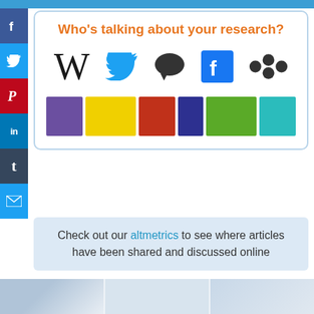Who's talking about your research?
[Figure (infographic): Row of social media and platform icons: Wikipedia W, Twitter bird, speech bubble, Facebook f, Mendeley dots logo, followed by colored swatches (purple, yellow, red, dark blue, green, teal)]
Check out our altmetrics to see where articles have been shared and discussed online